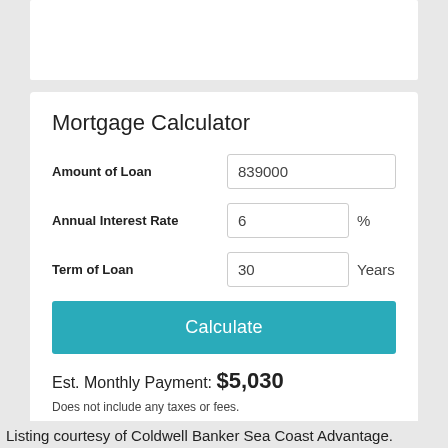Mortgage Calculator
Amount of Loan: 839000
Annual Interest Rate: 6 %
Term of Loan: 30 Years
Calculate
Est. Monthly Payment: $5,030
Does not include any taxes or fees.
Please consult a financial professional.
Calculator source: Real Geeks
Listing courtesy of Coldwell Banker Sea Coast Advantage.